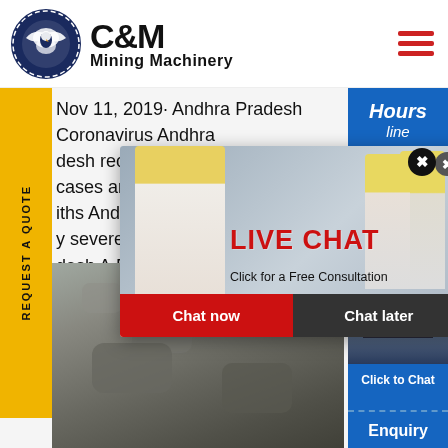[Figure (logo): C&M Mining Machinery logo with eagle gear icon]
Nov 11, 2019: Andhra Pradesh Coronavirus Andhra desh records 831 new COVID-19 cases and 6 iths And y severe desh A.P.
[Figure (infographic): Live Chat popup with workers in yellow hard hats, LIVE CHAT heading in red, Click for a Free Consultation text, Chat now (red button) and Chat later (dark button)]
[Figure (infographic): Right side panel showing Hours Online in blue, customer support agent with headset, Click to Chat button, and Enquiry label]
[Figure (photo): Rock/mining debris photo at bottom left]
REQUEST A QUOTE
Click to Chat
Enquiry